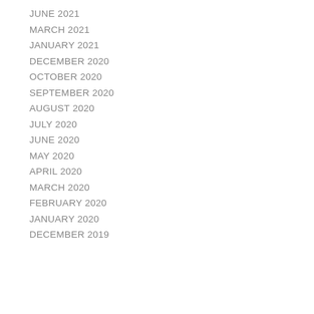JUNE 2021
MARCH 2021
JANUARY 2021
DECEMBER 2020
OCTOBER 2020
SEPTEMBER 2020
AUGUST 2020
JULY 2020
JUNE 2020
MAY 2020
APRIL 2020
MARCH 2020
FEBRUARY 2020
JANUARY 2020
DECEMBER 2019